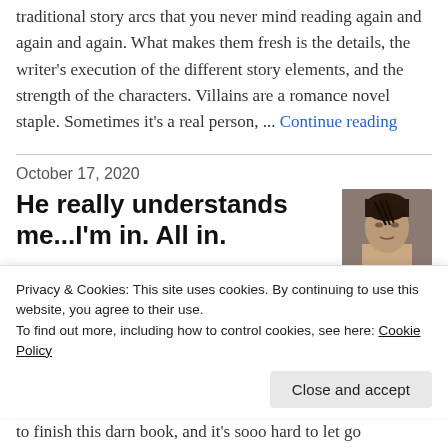traditional story arcs that you never mind reading again and again and again. What makes them fresh is the details, the writer's execution of the different story elements, and the strength of the characters. Villains are a romance novel staple. Sometimes it's a real person, ... Continue reading
October 17, 2020
He really understands me...I'm in. All in.
[Figure (photo): Photo of a young man with dark hair styled back, looking to the side]
Privacy & Cookies: This site uses cookies. By continuing to use this website, you agree to their use.
To find out more, including how to control cookies, see here: Cookie Policy
Close and accept
to finish this darn book, and it's sooo hard to let go